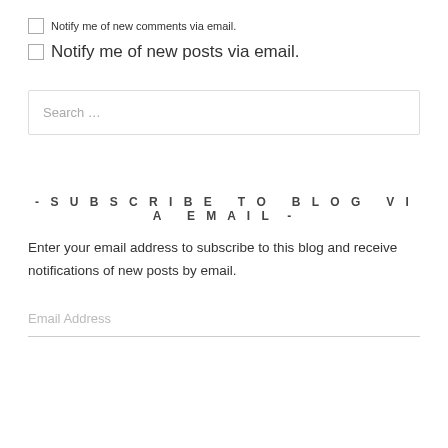Notify me of new comments via email.
Notify me of new posts via email.
Search …
- SUBSCRIBE TO BLOG VIA EMAIL -
Enter your email address to subscribe to this blog and receive notifications of new posts by email.
Email Address